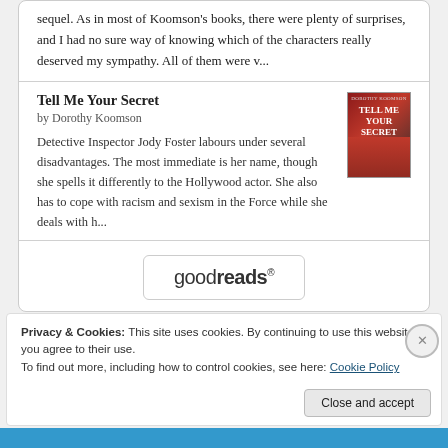sequel. As in most of Koomson's books, there were plenty of surprises, and I had no sure way of knowing which of the characters really deserved my sympathy. All of them were v...
Tell Me Your Secret
by Dorothy Koomson
Detective Inspector Jody Foster labours under several disadvantages. The most immediate is her name, though she spells it differently to the Hollywood actor. She also has to cope with racism and sexism in the Force while she deals with h...
[Figure (logo): Goodreads logo button with rounded rectangle border]
Privacy & Cookies: This site uses cookies. By continuing to use this website, you agree to their use.
To find out more, including how to control cookies, see here: Cookie Policy
Close and accept